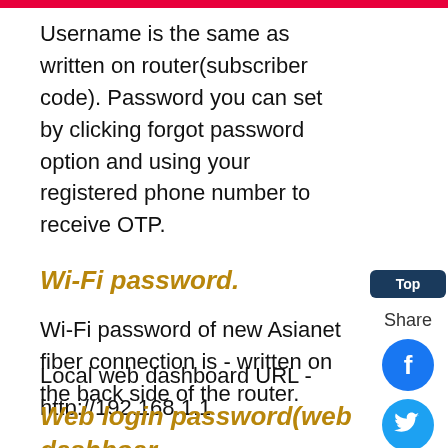Username is the same as written on router(subscriber code). Password you can set by clicking forgot password option and using your registered phone number to receive OTP.
Wi-Fi password.
Wi-Fi password of new Asianet fiber connection is - written on the back side of the router.
Web login password(web dashboard Asianet broadband fiber.
Local web dashboard URL - http://192.168.1.1